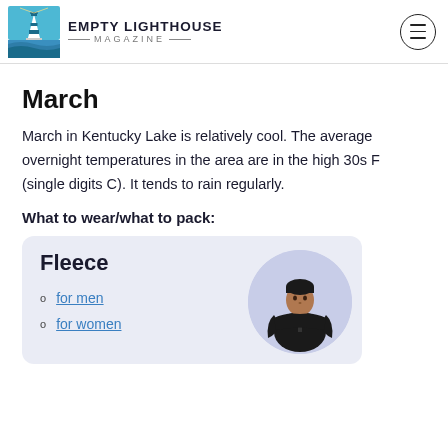Empty Lighthouse Magazine
March
March in Kentucky Lake is relatively cool. The average overnight temperatures in the area are in the high 30s F (single digits C). It tends to rain regularly.
What to wear/what to pack:
[Figure (infographic): Product card with light blue/lavender background showing Fleece heading, two links (for men, for women), and a photo of a man in a black fleece jacket on a circular background.]